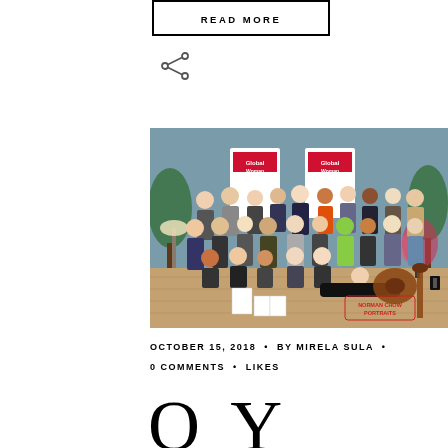READ MORE
[Figure (other): Share icon (less-than symbol with two dots)]
[Figure (photo): Group photo of approximately 30 women gathered at an event, with 'Global Woman' banners in the background, some holding magazines, one person lying on the floor with a guitar nearby, and a 'Norman Chow Portraits' watermark in the lower right.]
OCTOBER 15, 2018  •  BY MIRELA SULA  •
0 COMMENTS  •  LIKES
O  Y...